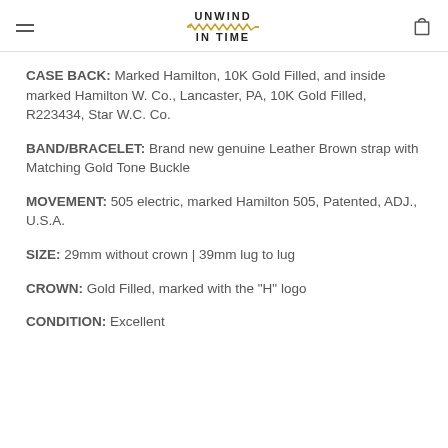UNWIND IN TIME
CASE BACK:  Marked Hamilton, 10K Gold Filled, and inside marked Hamilton W. Co., Lancaster, PA, 10K Gold Filled, R223434, Star W.C. Co.
BAND/BRACELET:  Brand new genuine Leather Brown strap with Matching Gold Tone Buckle
MOVEMENT:  505 electric, marked Hamilton 505, Patented, ADJ., U.S.A.
SIZE:  29mm without crown  |  39mm lug to lug
CROWN:  Gold Filled, marked with the "H" logo
CONDITION:  Excellent